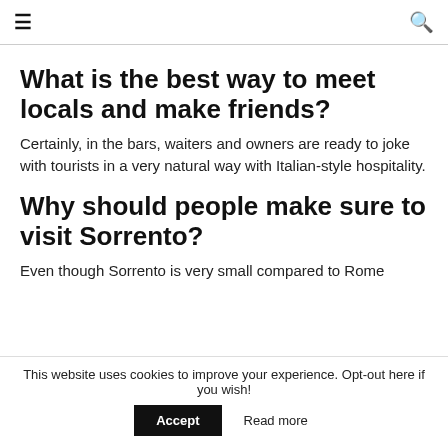≡ [menu icon] [search icon]
What is the best way to meet locals and make friends?
Certainly, in the bars, waiters and owners are ready to joke with tourists in a very natural way with Italian-style hospitality.
Why should people make sure to visit Sorrento?
Even though Sorrento is very small compared to Rome
This website uses cookies to improve your experience. Opt-out here if you wish! Accept Read more